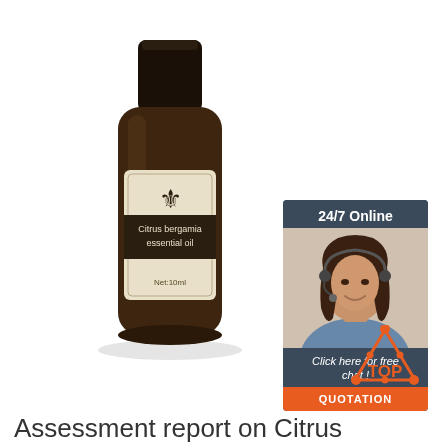[Figure (photo): A dark amber glass bottle of Citrus bergamia essential oil with a black cap, cream-colored label with fleur-de-lis emblem, labeled 'Citrus bergamia essential oil, Net:10ml']
[Figure (infographic): Customer service chat widget showing '24/7 Online', a smiling woman with headset, 'Click here for free chat!', and an orange 'QUOTATION' button]
[Figure (illustration): Orange 'TOP' icon with triangle/dots above]
Assessment report on Citrus